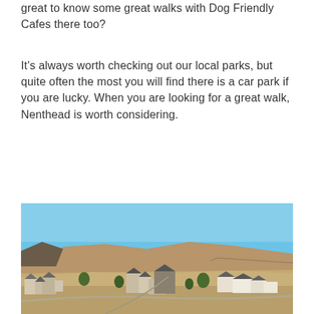great to know some great walks with Dog Friendly Cafes there too?
It's always worth checking out our local parks, but quite often the most you will find there is a car park if you are lucky. When you are looking for a great walk, Nenthead is worth considering.
[Figure (photo): Aerial photograph of Nenthead village showing stone buildings, roads, and surrounding moorland hills under a clear blue sky.]